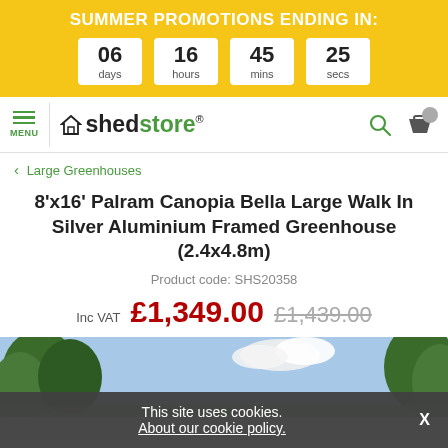SUMMER PROMOTIONS ENDING IN: 06 days 16 hours 45 mins 25 secs
[Figure (screenshot): Shedstore logo with house icon and registered trademark symbol, plus search and basket icons]
< Large Greenhouses
8'x16' Palram Canopia Bella Large Walk In Silver Aluminium Framed Greenhouse (2.4x4.8m)
Product code: SHS20358
Inc VAT £1,349.00 £1,439.00
[Figure (photo): Outdoor greenhouse setting with trees and sky in background]
This site uses cookies. About our cookie policy.